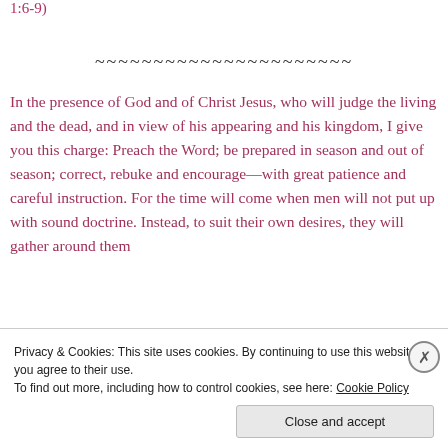1:6-9)
~~~~~~~~~~~~~~~~~~~~~~
In the presence of God and of Christ Jesus, who will judge the living and the dead, and in view of his appearing and his kingdom, I give you this charge: Preach the Word; be prepared in season and out of season; correct, rebuke and encourage—with great patience and careful instruction. For the time will come when men will not put up with sound doctrine. Instead, to suit their own desires, they will gather around them
Privacy & Cookies: This site uses cookies. By continuing to use this website, you agree to their use.
To find out more, including how to control cookies, see here: Cookie Policy
Close and accept